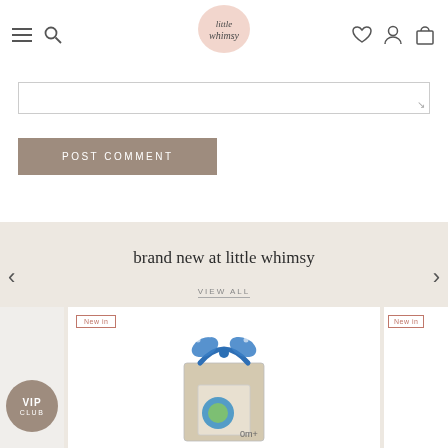little whimsy — navigation header with hamburger, search, logo, heart, account, cart icons
(comment textarea input field)
POST COMMENT
brand new at little whimsy
VIEW ALL
[Figure (screenshot): E-commerce product carousel showing 'brand new at little whimsy' section with a product card featuring a toy in a box with blue ribbon, a VIP CLUB badge on a partial card to the left, and a 'New in' badge on both visible cards. Background is beige/tan.]